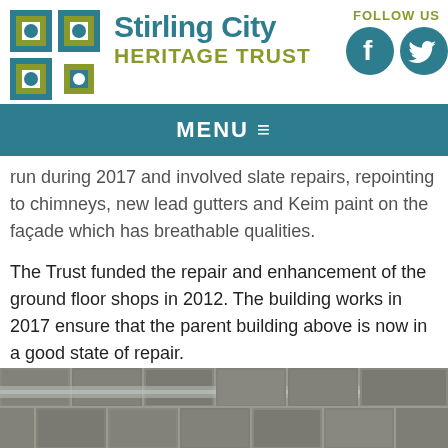[Figure (logo): Stirling City Heritage Trust logo with teal and olive green geometric squares and circle]
Stirling City HERITAGE TRUST
FOLLOW US
[Figure (other): Facebook and Twitter social media icons in teal circles]
MENU ≡
run during 2017 and involved slate repairs, repointing to chimneys, new lead gutters and Keim paint on the façade which has breathable qualities.
The Trust funded the repair and enhancement of the ground floor shops in 2012. The building works in 2017 ensure that the parent building above is now in a good state of repair.
[Figure (photo): Close-up photograph of roof slates and lead guttering]